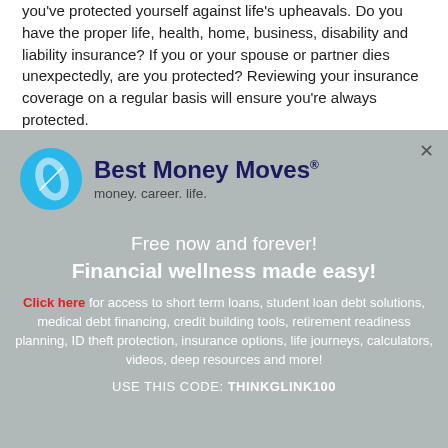you've protected yourself against life's upheavals. Do you have the proper life, health, home, business, disability and liability insurance? If you or your spouse or partner dies unexpectedly, are you protected? Reviewing your insurance coverage on a regular basis will ensure you're always protected.
[Figure (logo): Best Money Moves logo — blue circle with leaf, text 'Best Money Moves® money. career. life.']
Free now and forever!
Financial wellness made easy!
Click here for access to short term loans, student loan debt solutions, medical debt financing, credit building tools, retirement readiness planning, ID theft protection, insurance options, life journeys, calculators, videos, deep resources and more!
USE THIS CODE: THINKGLINK100